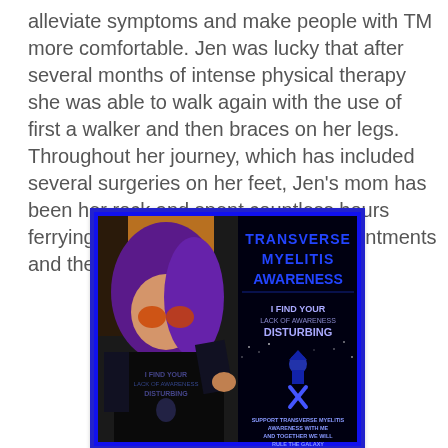alleviate symptoms and make people with TM more comfortable. Jen was lucky that after several months of intense physical therapy she was able to walk again with the use of first a walker and then braces on her legs. Throughout her journey, which has included several surgeries on her feet, Jen's mom has been her rock and spent countless hours ferrying her to and from doctor's appointments and therapy.
[Figure (photo): A photo composite showing a young woman with purple hair and round orange-tinted sunglasses wearing a black t-shirt with Star Wars themed 'I Find Your Lack of Awareness Disturbing' text, alongside a Transverse Myelitis Awareness graphic featuring a Darth Vader silhouette and a blue awareness ribbon with text 'TRANSVERSE MYELITIS AWARENESS - I FIND YOUR LACK OF AWARENESS DISTURBING - SUPPORT TRANSVERSE MYELITIS AWARENESS WITH ME AND TOGETHER WE WILL RULE THE GALAXY']